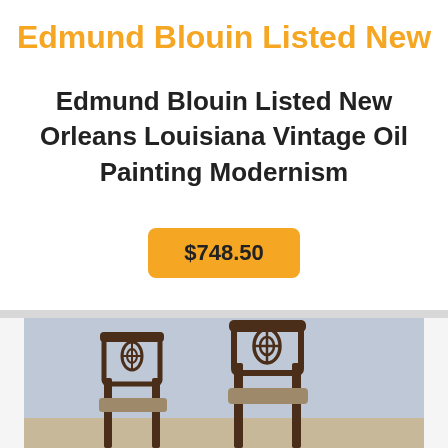Edmund Blouin Listed New
Edmund Blouin Listed New Orleans Louisiana Vintage Oil Painting Modernism
$748.50
[Figure (photo): Two vintage wooden chairs with ornate carved backs featuring floral/lattice design, photographed against a light blue-grey wall]